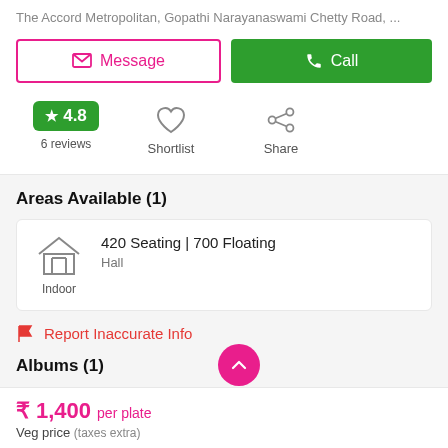The Accord Metropolitan, Gopathi Narayanaswami Chetty Road, ...
Message
Call
4.8
6 reviews
Shortlist
Share
Areas Available (1)
420 Seating | 700 Floating
Hall
Indoor
Report Inaccurate Info
Albums (1)
₹ 1,400 per plate
Veg price (taxes extra)